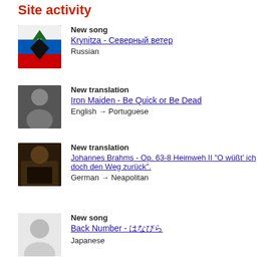Site activity
New song
Krynitza - Северный ветер
Russian
New translation
Iron Maiden - Be Quick or Be Dead
English → Portuguese
New translation
Johannes Brahms - Op. 63-8 Heimweh II "O wüßt' ich doch den Weg zurück".
German → Neapolitan
New song
Back Number - はなびら
Japanese
New comment
Yeah, that's what he says.  more
New song
Audio 2 - Adriatico